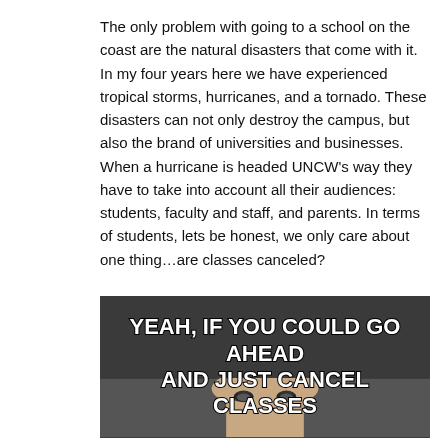The only problem with going to a school on the coast are the natural disasters that come with it. In my four years here we have experienced tropical storms, hurricanes, and a tornado. These disasters can not only destroy the campus, but also the brand of universities and businesses.

When a hurricane is headed UNCW's way they have to take into account all their audiences: students, faculty and staff, and parents. In terms of students, lets be honest, we only care about one thing…are classes canceled?
[Figure (photo): Meme image with dark grey background and white bold text with black outline reading 'YEAH, IF YOU COULD GO AHEAD AND JUST CANCEL CLASSES', with a partial face visible at the bottom]